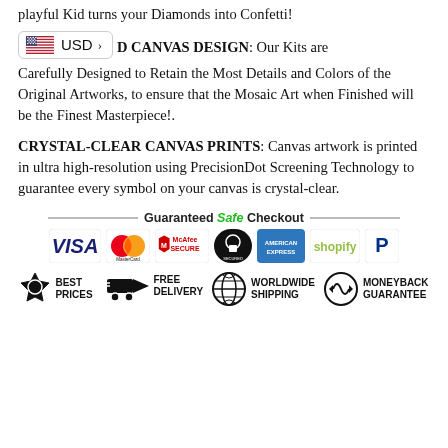playful Kid turns your Diamonds into Confetti!
[Figure (other): US flag currency badge showing USD with arrow]
D CANVAS DESIGN: Our Kits are Carefully Designed to Retain the Most Details and Colors of the Original Artworks, to ensure that the Mosaic Art when Finished will be the Finest Masterpiece!.
CRYSTAL-CLEAR CANVAS PRINTS: Canvas artwork is printed in ultra high-resolution using PrecisionDot Screening Technology to guarantee every symbol on your canvas is crystal-clear.
[Figure (infographic): Guaranteed Safe Checkout banner with payment logos (VISA, MasterCard, McAfee SECURE, secured badge, American Express, Shopify, PayPal) and benefit icons (Best Prices, Free Delivery, Worldwide Shipping, Moneyback Guarantee)]